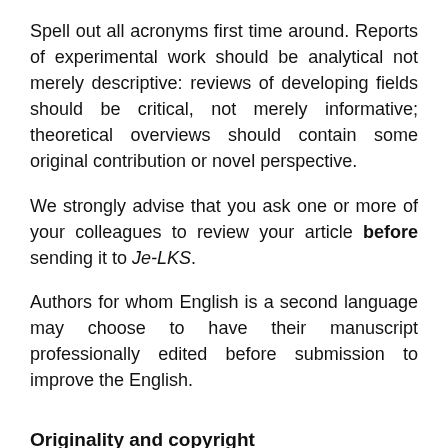Spell out all acronyms first time around. Reports of experimental work should be analytical not merely descriptive: reviews of developing fields should be critical, not merely informative; theoretical overviews should contain some original contribution or novel perspective.
We strongly advise that you ask one or more of your colleagues to review your article before sending it to Je-LKS.
Authors for whom English is a second language may choose to have their manuscript professionally edited before submission to improve the English.
Originality and copyright
When you submit a paper to us it is a condition